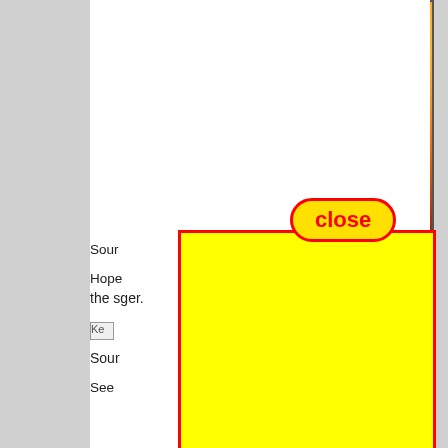[Figure (photo): Inspirational sunset image with silhouette of a person sitting by the water. Text overlay reads 'May you have all three as you begin each day.' with watermark 'Wisdomb...i.com' and credit 'Written and Created by Dave Hedges ©']
[Figure (screenshot): Close button overlay (red-bordered yellow pill button with 'close' text in red) and large yellow rectangle overlay (advertisement or popup) covering portions of the page]
Sour[ce partially obscured]
Hop[e partially obscured] e the s[partially obscured] ger.
[Ke partially obscured image]
Sour[ce partially obscured]
See [partially obscured]